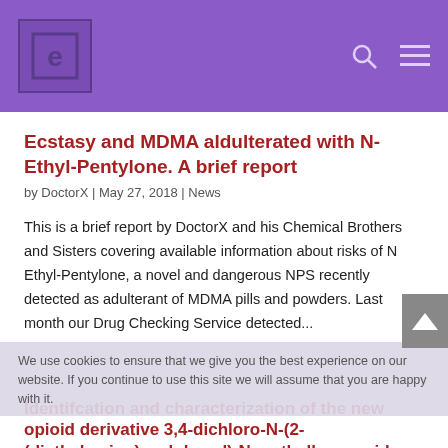EcstasyData logo, search icon, menu icon
Ecstasy and MDMA aldulterated with N-Ethyl-Pentylone. A brief report
by DoctorX | May 27, 2018 | News
This is a brief report by DoctorX and his Chemical Brothers and Sisters covering available information about risks of N Ethyl-Pentylone, a novel and dangerous NPS recently detected as adulterant of MDMA pills and powders. Last month our Drug Checking Service detected...
We use cookies to ensure that we give you the best experience on our website. If you continue to use this site we will assume that you are happy with it.
Identifcation and characterization of the new opioid derivative 3,4-dichloro-N-(2-(diethylamino)cyclohexyl)-N-methylbenzamide (U-49900)
by ECstaff | Nov 17, 2017 | News